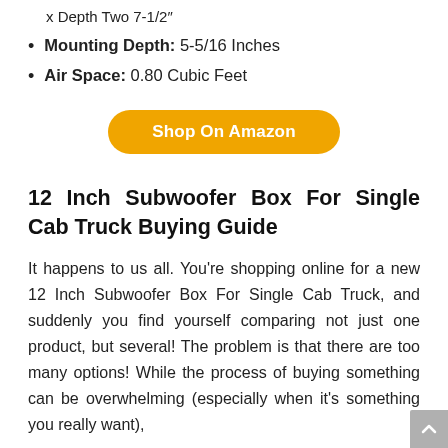x Depth Two 7-1/2"
Mounting Depth: 5-5/16 Inches
Air Space: 0.80 Cubic Feet
Shop On Amazon
12 Inch Subwoofer Box For Single Cab Truck Buying Guide
It happens to us all. You're shopping online for a new 12 Inch Subwoofer Box For Single Cab Truck, and suddenly you find yourself comparing not just one product, but several! The problem is that there are too many options! While the process of buying something can be overwhelming (especially when it's something you really want),